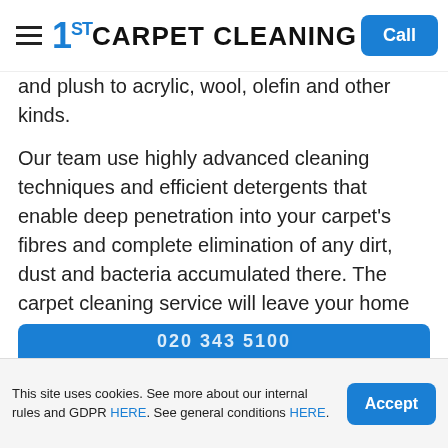1ST CARPET CLEANING | Call
and plush to acrylic, wool, olefin and other kinds.
Our team use highly advanced cleaning techniques and efficient detergents that enable deep penetration into your carpet’s fibres and complete elimination of any dirt, dust and bacteria accumulated there. The carpet cleaning service will leave your home completely transformed – cleaner and healthier.
Get in touch with us by using one of the contact options below!
020 343 5100
This site uses cookies. See more about our internal rules and GDPR HERE. See general conditions HERE.